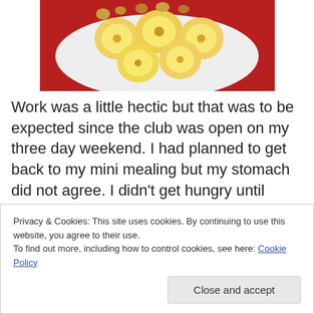[Figure (photo): Photo of sliced bananas on a red plate with cereal or other food items]
Work was a little hectic but that was to be expected since the club was open on my three day weekend. I had planned to get back to my mini mealing but my stomach did not agree. I didn't get hungry until about 10:30 which was just in time for staff lunch. It was beef gyros and they
Privacy & Cookies: This site uses cookies. By continuing to use this website, you agree to their use.
To find out more, including how to control cookies, see here: Cookie Policy
Close and accept